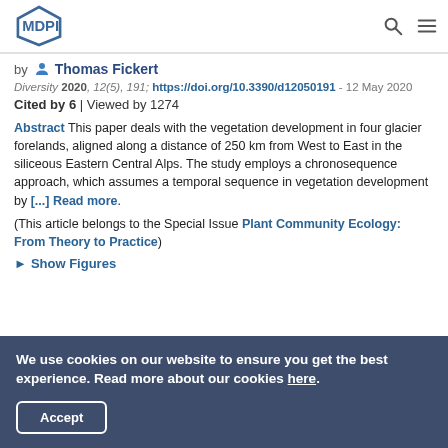MDPI
by Thomas Fickert
Diversity 2020, 12(5), 191; https://doi.org/10.3390/d12050191 - 12 May 2020
Cited by 6 | Viewed by 1274
Abstract This paper deals with the vegetation development in four glacier forelands, aligned along a distance of 250 km from West to East in the siliceous Eastern Central Alps. The study employs a chronosequence approach, which assumes a temporal sequence in vegetation development by [...] Read more.
(This article belongs to the Special Issue Plant Community Ecology: From Theory to Practice)
► Show Figures
We use cookies on our website to ensure you get the best experience. Read more about our cookies here.
Accept